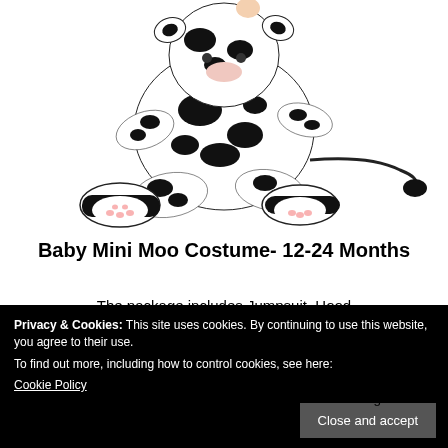[Figure (photo): Baby sitting on white background wearing a black and white cow print jumpsuit costume with matching hooded hat and booties with a tail visible on the right side.]
Baby Mini Moo Costume- 12-24 Months
The package includes Jumpsuit, Hood
Privacy & Cookies: This site uses cookies. By continuing to use this website, you agree to their use.
To find out more, including how to control cookies, see here:
Cookie Policy
[Close and accept]
The costume includes a cow print jumpsuit and a matching hood